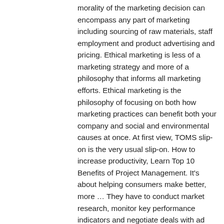morality of the marketing decision can encompass any part of marketing including sourcing of raw materials, staff employment and product advertising and pricing. Ethical marketing is less of a marketing strategy and more of a philosophy that informs all marketing efforts. Ethical marketing is the philosophy of focusing on both how marketing practices can benefit both your company and social and environmental causes at once. At first view, TOMS slip-on is the very usual slip-on. How to increase productivity, Learn Top 10 Benefits of Project Management. It's about helping consumers make better, more … They have to conduct market research, monitor key performance indicators and negotiate deals with ad buyers. Let's delve into these advantages: How to Ensure Your Marketing is Ethical? Ethical marketing means analyzing particular marketing issues from the standpoint of moral values and making the most efficient decisions. "Ethical marketing is a process through which companies generate customer interest in products/services, build strong customer interest/relationships, and create value for all stakeholders by incorporating social and environmental considerations in products and promotions. For instance, some consider it unethical for marketing companies to aggressively promote